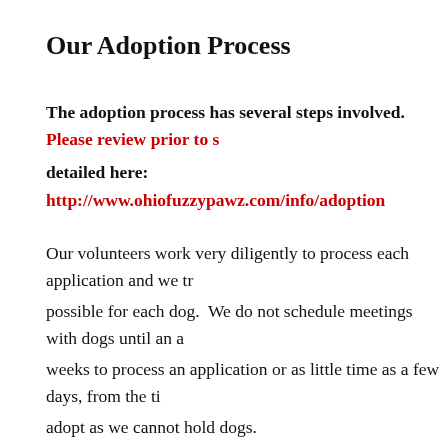Our Adoption Process
The adoption process has several steps involved. Please review prior to submitting an application. The process is detailed here: http://www.ohiofuzzypawz.com/info/adoption
Our volunteers work very diligently to process each application and we try to find the best possible match possible for each dog. We do not schedule meetings with dogs until an application is approved. It may take a few weeks to process an application or as little time as a few days, from the time we receive it. Please be ready to adopt as we cannot hold dogs.
Special Requirements
Some dogs may have special requirements (for example, medications, a fenced yard, etc.). Please read over the biography completely to see if there are any special needs and if you can meet them. If it states in a dog's biography that a fence is required, this means your home must have a fence. We realize that some dogs that have a fence requirement that there are good responsible dog owners that do not have a fence...